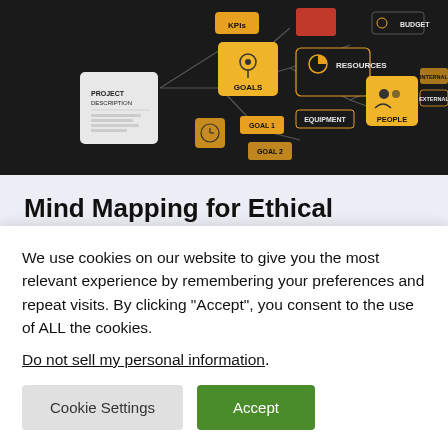[Figure (infographic): Mind map / project planning diagram on dark background showing nodes: KPIs, GOALS, RESOURCES, BUDGET, PROJECT DESCRIPTION, clock icon, GOAL 1, GOAL 2, EQUIPMENT, PEOPLE, INTERNAL, EXTERNAL]
Mind Mapping for Ethical Decision Making
As a follow-up to my previous article about creating an ethical framework for design and decision-making, I want to explore a public policy use case using visual modeling to really
We use cookies on our website to give you the most relevant experience by remembering your preferences and repeat visits. By clicking “Accept”, you consent to the use of ALL the cookies.
Do not sell my personal information.
Cookie Settings   Accept